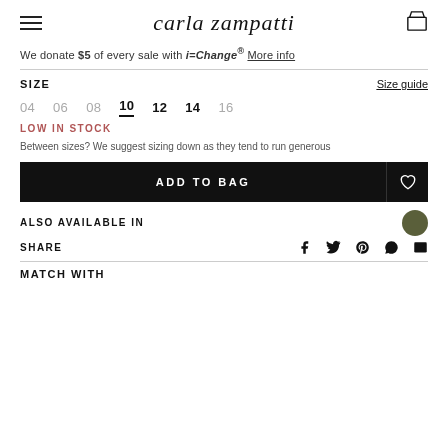carla zampatti
We donate $5 of every sale with i=Change® More info
SIZE   Size guide
04  06  08  10  12  14  16
LOW IN STOCK
Between sizes? We suggest sizing down as they tend to run generous
ADD TO BAG
ALSO AVAILABLE IN
SHARE
MATCH WITH